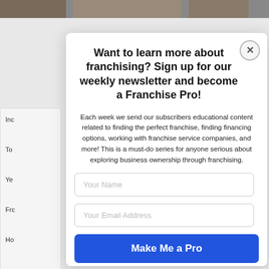[Figure (photo): Photo strip at top showing three partially visible images of people]
Want to learn more about franchising? Sign up for our weekly newsletter and become a Franchise Pro!
Each week we send our subscribers educational content related to finding the perfect franchise, finding financing options, working with franchise service companies, and more! This is a must-do series for anyone serious about exploring business ownership through franchising.
Your Name
Your Email Address
Make Me a Pro